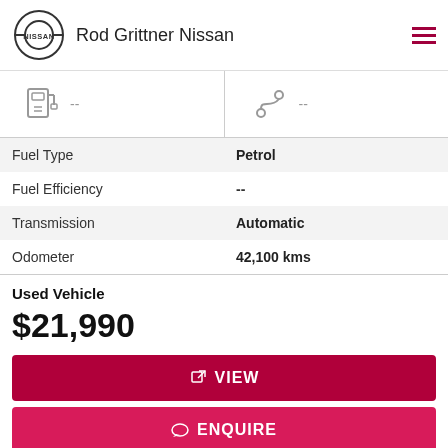Rod Grittner Nissan
[Figure (infographic): Fuel pump icon with dashes and location/route icon with dashes]
| Fuel Type | Petrol |
| Fuel Efficiency | -- |
| Transmission | Automatic |
| Odometer | 42,100 kms |
Used Vehicle
$21,990
VIEW
ENQUIRE